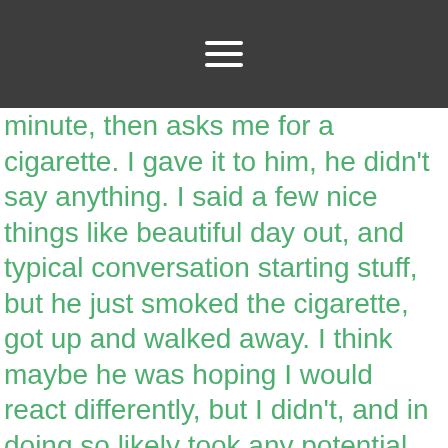[hamburger menu icon]
minute, then asks me for a cigarette. I gave it to him, he didn't say anything. I said a few nice things like beautiful day out, and typical conversation starting stuff, but he just smoked the cigarette, got up and walked away. I think maybe he was hoping I would react differently, but I didn't, and in doing so likely took any potential fuel away from that fire. Or, he could have just been coming down from liquor/crack/meth, which would have been more likely judging by his physical condition.
So, I washed my one-size-too-small shirt Sunday morning to see what more this day would hold by doing my homework at my usual local café haunts. It was largely uneventful until I got